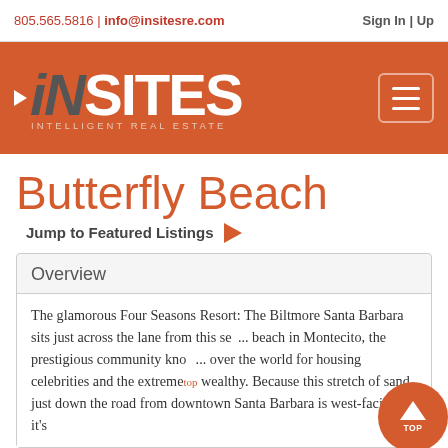805.565.5816 | info@insitesre.com   Sign In | Up
[Figure (logo): INSITES Intelligent Real Estate logo on orange background with hamburger menu button]
Butterfly Beach
Jump to Featured Listings ▶
Overview
The glamorous Four Seasons Resort: The Biltmore Santa Barbara sits just across the lane from this se... beach in Montecito, the prestigious community kno... over the world for housing celebrities and the extreme... wealthy. Because this stretch of sand just down the road from downtown Santa Barbara is west-facing, it's